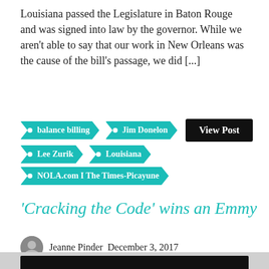Louisiana passed the Legislature in Baton Rouge and was signed into law by the governor. While we aren’t able to say that our work in New Orleans was the cause of the bill’s passage, we did [...]
balance billing
Jim Donelon
Lee Zurik
Louisiana
NOLA.com I The Times-Picayune
‘Cracking the Code’ wins an Emmy
Jeanne Pinder December 3, 2017
Filed Under: Patients, Providers
[Figure (photo): Bottom strip showing a partial image with dark background]